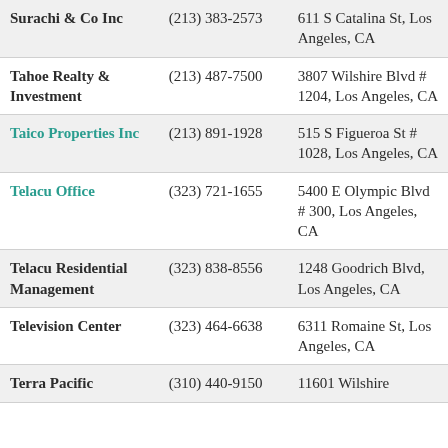| Surachi & Co Inc | (213) 383-2573 | 611 S Catalina St, Los Angeles, CA |
| Tahoe Realty & Investment | (213) 487-7500 | 3807 Wilshire Blvd # 1204, Los Angeles, CA |
| Taico Properties Inc | (213) 891-1928 | 515 S Figueroa St # 1028, Los Angeles, CA |
| Telacu Office | (323) 721-1655 | 5400 E Olympic Blvd # 300, Los Angeles, CA |
| Telacu Residential Management | (323) 838-8556 | 1248 Goodrich Blvd, Los Angeles, CA |
| Television Center | (323) 464-6638 | 6311 Romaine St, Los Angeles, CA |
| Terra Pacific | (310) 440-9150 | 11601 Wilshire |